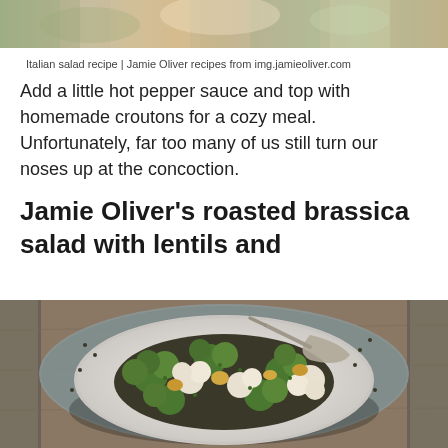[Figure (photo): Top portion of a food/recipe photo, cropped at the top of the page]
Italian salad recipe | Jamie Oliver recipes from img.jamieoliver.com
Add a little hot pepper sauce and top with homemade croutons for a cozy meal. Unfortunately, far too many of us still turn our noses up at the concoction.
Jamie Oliver's roasted brassica salad with lentils and
[Figure (photo): Food photography showing a white oval plate with roasted brassica salad containing broccoli, cauliflower florets, lentils and other roasted vegetables, served on a rustic wooden table with a grey linen cloth, with a serving spoon on the plate]